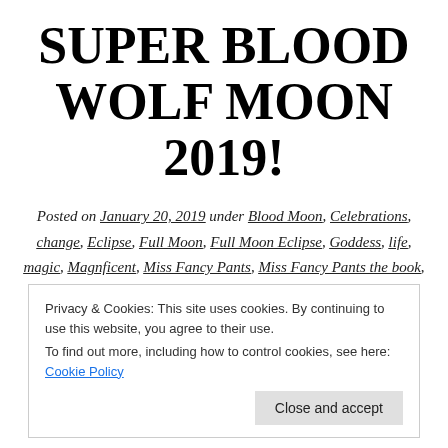SUPER BLOOD WOLF MOON 2019!
Posted on January 20, 2019 under Blood Moon, Celebrations, change, Eclipse, Full Moon, Full Moon Eclipse, Goddess, life, magic, Magnficent, Miss Fancy Pants, Miss Fancy Pants the book, Recycle, Rituals, Super Moon, Writing
Privacy & Cookies: This site uses cookies. By continuing to use this website, you agree to their use. To find out more, including how to control cookies, see here: Cookie Policy